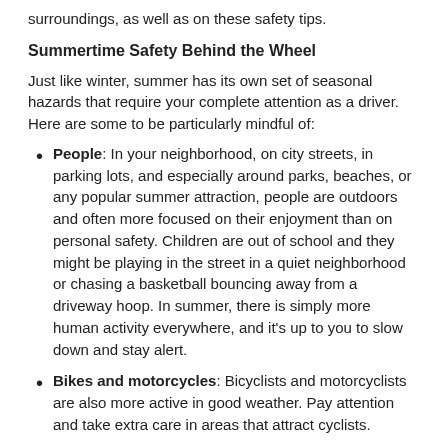surroundings, as well as on these safety tips.
Summertime Safety Behind the Wheel
Just like winter, summer has its own set of seasonal hazards that require your complete attention as a driver. Here are some to be particularly mindful of:
People: In your neighborhood, on city streets, in parking lots, and especially around parks, beaches, or any popular summer attraction, people are outdoors and often more focused on their enjoyment than on personal safety. Children are out of school and they might be playing in the street in a quiet neighborhood or chasing a basketball bouncing away from a driveway hoop. In summer, there is simply more human activity everywhere, and it's up to you to slow down and stay alert.
Bikes and motorcycles: Bicyclists and motorcyclists are also more active in good weather. Pay attention and take extra care in areas that attract cyclists.
Glare: The sun's glare is bright in summer, and even harsher when the sun is low and in your face. Have your sunglasses handy if you're not already wearing them, and be aware that fi...